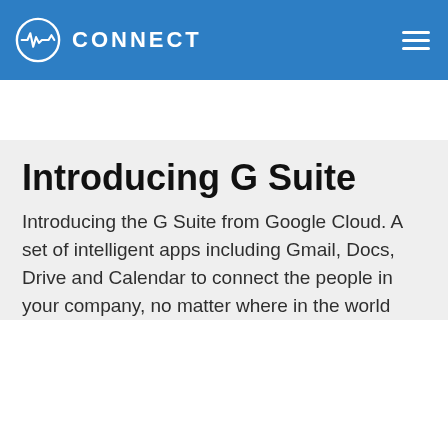CONNECT
Introducing G Suite
Introducing the G Suite from Google Cloud. A set of intelligent apps including Gmail, Docs, Drive and Calendar to connect the people in your company, no matter where in the world